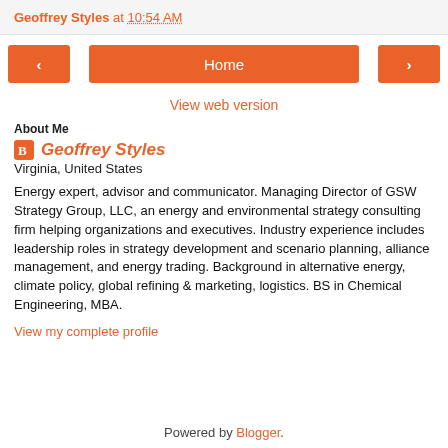Geoffrey Styles at 10:54 AM
< Home >
View web version
About Me
Geoffrey Styles
Virginia, United States
Energy expert, advisor and communicator. Managing Director of GSW Strategy Group, LLC, an energy and environmental strategy consulting firm helping organizations and executives. Industry experience includes leadership roles in strategy development and scenario planning, alliance management, and energy trading. Background in alternative energy, climate policy, global refining & marketing, logistics. BS in Chemical Engineering, MBA.
View my complete profile
Powered by Blogger.